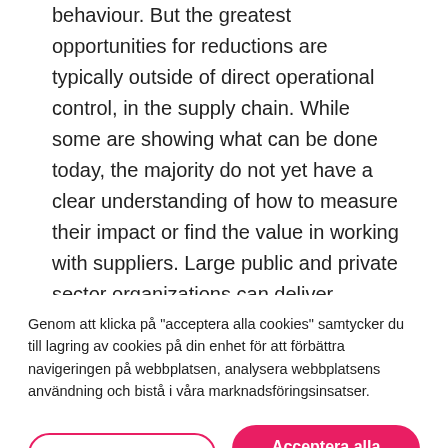behaviour. But the greatest opportunities for reductions are typically outside of direct operational control, in the supply chain. While some are showing what can be done today, the majority do not yet have a clear understanding of how to measure their impact or find the value in working with suppliers. Large public and private sector organizations can deliver
Genom att klicka på "acceptera alla cookies" samtycker du till lagring av cookies på din enhet för att förbättra navigeringen på webbplatsen, analysera webbplatsens användning och bistå i våra marknadsföringsinsatser.
Cookie-inställningar
Acceptera alla cookies